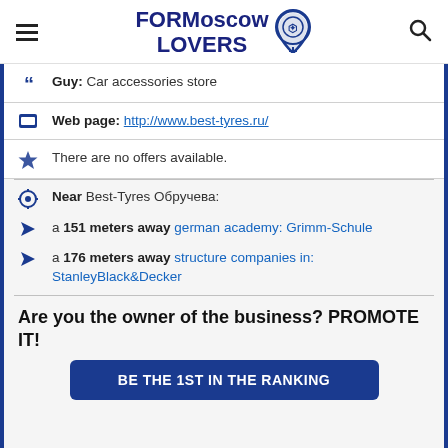FORMoscow LOVERS
Guy: Car accessories store
Web page: http://www.best-tyres.ru/
There are no offers available.
Near Best-Tyres Обручева:
a 151 meters away german academy: Grimm-Schule
a 176 meters away structure companies in: StanleyBlack&Decker
Are you the owner of the business? PROMOTE IT!
BE THE 1ST IN THE RANKING